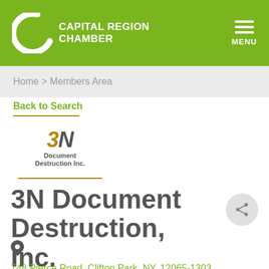CAPITAL REGION CHAMBER
Home > Members Area
Back to Search
[Figure (logo): 3N Document Destruction Inc. company logo with stylized 3N in gold/brown and dark text]
3N Document Destruction, Inc.
748 Pierce Road, Clifton Park, NY, 12065-1303